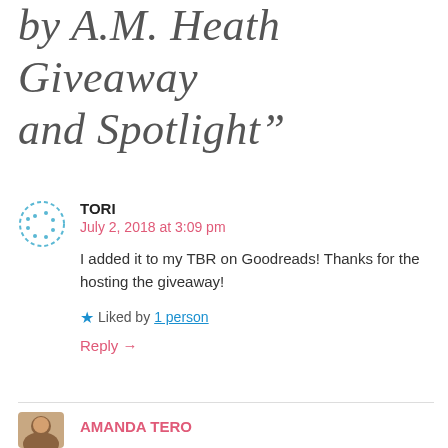by A.M. Heath Giveaway and Spotlight”
TORI
July 2, 2018 at 3:09 pm
I added it to my TBR on Goodreads! Thanks for the hosting the giveaway!
Liked by 1 person
Reply →
AMANDA TERO